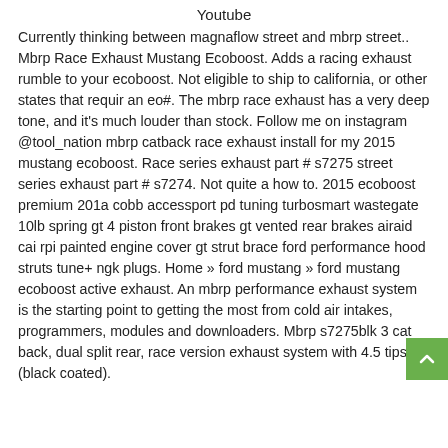Youtube
Currently thinking between magnaflow street and mbrp street.. Mbrp Race Exhaust Mustang Ecoboost. Adds a racing exhaust rumble to your ecoboost. Not eligible to ship to california, or other states that requir an eo#. The mbrp race exhaust has a very deep tone, and it's much louder than stock. Follow me on instagram @tool_nation mbrp catback race exhaust install for my 2015 mustang ecoboost. Race series exhaust part # s7275 street series exhaust part # s7274. Not quite a how to. 2015 ecoboost premium 201a cobb accessport pd tuning turbosmart wastegate 10lb spring gt 4 piston front brakes gt vented rear brakes airaid cai rpi painted engine cover gt strut brace ford performance hood struts tune+ ngk plugs. Home » ford mustang » ford mustang ecoboost active exhaust. An mbrp performance exhaust system is the starting point to getting the most from cold air intakes, programmers, modules and downloaders. Mbrp s7275blk 3 cat back, dual split rear, race version exhaust system with 4.5 tips (black coated).